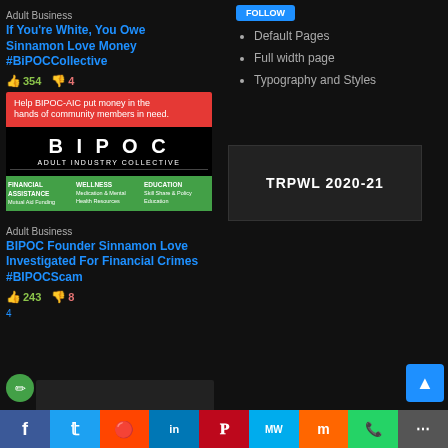Adult Business
If You're White, You Owe Sinnamon Love Money #BiPOCCollective
354 likes, 4 dislikes
[Figure (screenshot): BIPOC Adult Industry Collective promotional image with red header, black middle section with BIPOC logo, and green bottom with Financial Assistance, Wellness, Education sections]
Adult Business
BIPOC Founder Sinnamon Love Investigated For Financial Crimes #BIPOCScam
243 likes, 8 dislikes
4
Default Pages
Full width page
Typography and Styles
[Figure (screenshot): Dark box with white text reading TRPWL 2020-21]